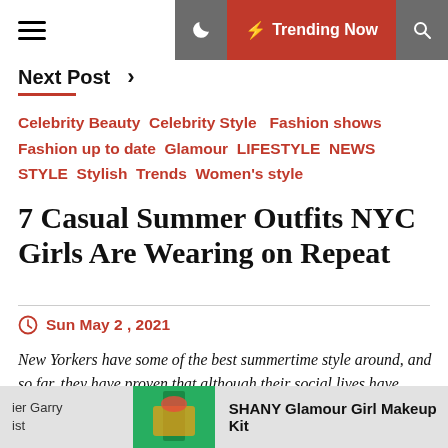Next Post > | Trending Now
Celebrity Beauty  Celebrity Style  Fashion shows  Fashion up to date  Glamour  LIFESTYLE  NEWS  STYLE  Stylish  Trends  Women's style
7 Casual Summer Outfits NYC Girls Are Wearing on Repeat
Sun May 2 , 2021
New Yorkers have some of the best summertime style around, and so far, they have proven that although their social lives have changed this season, their style has remained just as strong as ever. We've now spent months wearing leggings, sweatpants, and anything with an
ier Garry ist | SHANY Glamour Girl Makeup Kit